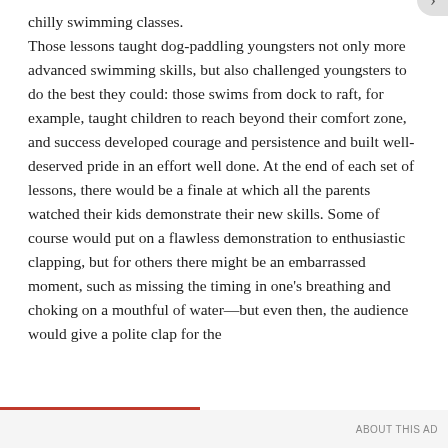chilly swimming classes.
Those lessons taught dog-paddling youngsters not only more advanced swimming skills, but also challenged youngsters to do the best they could: those swims from dock to raft, for example, taught children to reach beyond their comfort zone, and success developed courage and persistence and built well-deserved pride in an effort well done. At the end of each set of lessons, there would be a finale at which all the parents watched their kids demonstrate their new skills. Some of course would put on a flawless demonstration to enthusiastic clapping, but for others there might be an embarrassed moment, such as missing the timing in one's breathing and choking on a mouthful of water—but even then, the audience would give a polite clap for the
Privacy & Cookies: This site uses cookies. By continuing to use this website, you agree to their use.
To find out more, including how to control cookies, see here: Cookie Policy
Close and accept
ABOUT THIS AD